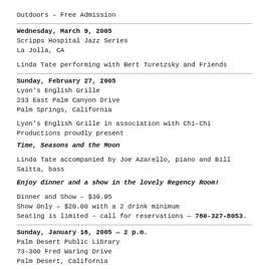Outdoors – Free Admission
Wednesday, March 9, 2005
Scripps Hospital Jazz Series
La Jolla, CA
Linda Tate performing with Bert Turetzsky and Friends
Sunday, February 27, 2005
Lyon's English Grille
233 East Palm Canyon Drive
Palm Springs, California
Lyon's English Grille in association with Chi-Chi Productions proudly present
Time, Seasons and the Moon
Linda Tate accompanied by Joe Azarello, piano and Bill Saitta, bass
Enjoy dinner and a show in the lovely Regency Room!
Dinner and Show – $39.95
Show Only – $20.00 with a 2 drink minimum
Seating is limited – call for reservations — 760-327-8053.
Sunday, January 16, 2005 — 2 p.m.
Palm Desert Public Library
73-300 Fred Waring Drive
Palm Desert, California